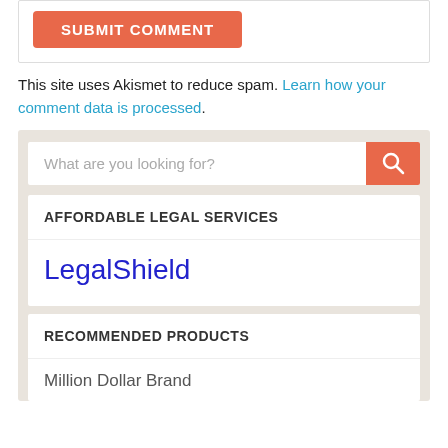[Figure (screenshot): SUBMIT COMMENT button in orange/coral color with white text]
This site uses Akismet to reduce spam. Learn how your comment data is processed.
[Figure (screenshot): Sidebar widget area with search box, AFFORDABLE LEGAL SERVICES section with LegalShield link, and RECOMMENDED PRODUCTS section with Million Dollar Brand text]
AFFORDABLE LEGAL SERVICES
LegalShield
RECOMMENDED PRODUCTS
Million Dollar Brand